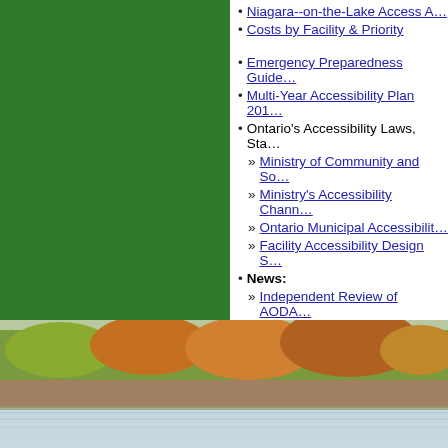Niagara--on-the-Lake Access A…
Costs by Facility & Priority
Emergency Preparedness Guide…
Multi-Year Accessibility Plan 201…
Ontario's Accessibility Laws, Sta…
Ministry of Community and So…
Ministry's Accessibility Chann…
Ontario Municipal Accessibilit…
Facility Accessibility Design S…
News:
Independent Review of AODA…
Government of Ontario Resp…
You can also stay connected with…
[Figure (photo): Aerial photo of Niagara-on-the-Lake shoreline with autumn foliage and water]
1593 Four Mile Creek Road, PO Box 100, Virgil, ON  L0S 1T0
Hours of Operation: Monday to Friday, 8:30 a.m. to 4:30 p.m.